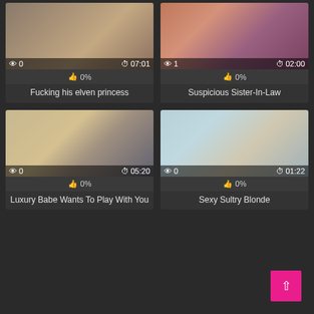[Figure (screenshot): Video thumbnail grid showing 4 adult video cards with thumbnails, view counts, durations, like percentages, and titles]
Fucking his elven princess
Suspicious Sister-In-Law
Luxury Babe Wants To Play With You
Sexy Sultry Blonde